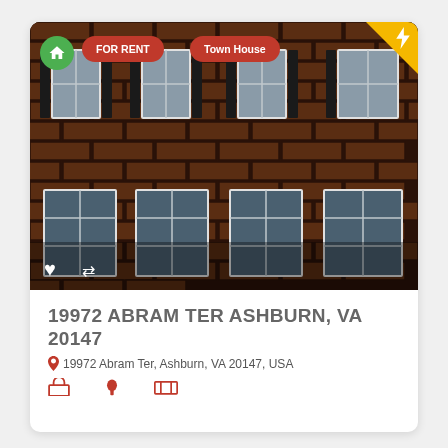[Figure (photo): Brick townhouse exterior with multiple windows and dark shutters, showing two floors of windows on a brown brick facade.]
19972 ABRAM TER ASHBURN, VA 20147
19972 Abram Ter, Ashburn, VA 20147, USA